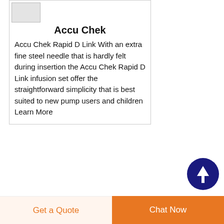[Figure (photo): Small thumbnail image of Accu Chek product]
Accu Chek
Accu Chek Rapid D Link With an extra fine steel needle that is hardly felt during insertion the Accu Chek Rapid D Link infusion set offer the straightforward simplicity that is best suited to new pump users and children Learn More
[Figure (other): Dark blue circular scroll-to-top button with white upward arrow]
Products Posts
medical china needle freeclave South Africa
medical flow regulator iv administration sets Micronesia Palibi...
Get a Quote    Chat Now